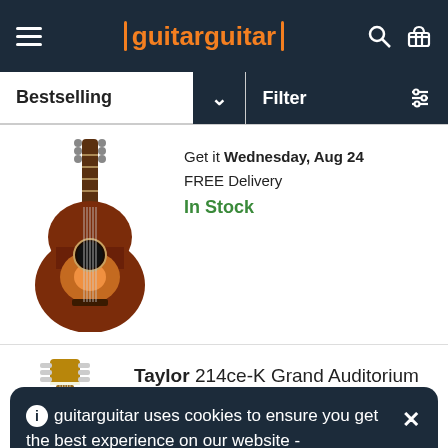guitarguitar
Bestselling
Filter
[Figure (photo): Acoustic guitar with dark sunburst finish, shown from front]
Get it Wednesday, Aug 24
FREE Delivery
In Stock
[Figure (photo): Taylor 214ce-K Grand Auditorium acoustic guitar, shown full length from front]
Taylor 214ce-K Grand Auditorium
★★★★★ (1)
guitarguitar uses cookies to ensure you get the best experience on our website - Learn More